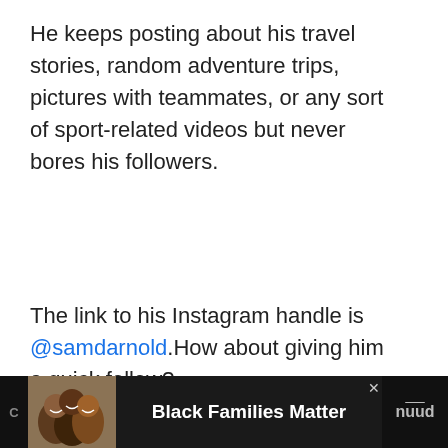He keeps posting about his travel stories, random adventure trips, pictures with teammates, or any sort of sport-related videos but never bores his followers.
The link to his Instagram handle is @samdarnold.How about giving him a quick follow?
Hello there, all you beautiful people,  Why not gi a fruitful read to another article, Ray-Ray McClou – Early Life, NFL, Personal Life & Net Worth.
[Figure (screenshot): Advertisement bar at the bottom with image of smiling people on left, text 'Black Families Matter' in center on dark background, partially visible text on right]